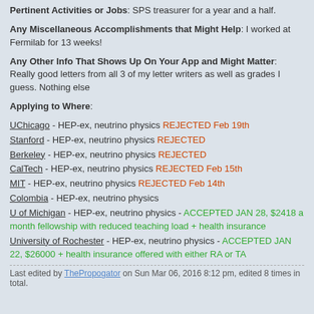Pertinent Activities or Jobs: SPS treasurer for a year and a half.
Any Miscellaneous Accomplishments that Might Help: I worked at Fermilab for 13 weeks!
Any Other Info That Shows Up On Your App and Might Matter: Really good letters from all 3 of my letter writers as well as grades I guess. Nothing else
Applying to Where:
UChicago - HEP-ex, neutrino physics REJECTED Feb 19th
Stanford - HEP-ex, neutrino physics REJECTED
Berkeley - HEP-ex, neutrino physics REJECTED
CalTech - HEP-ex, neutrino physics REJECTED Feb 15th
MIT - HEP-ex, neutrino physics REJECTED Feb 14th
Colombia - HEP-ex, neutrino physics
U of Michigan - HEP-ex, neutrino physics - ACCEPTED JAN 28, $2418 a month fellowship with reduced teaching load + health insurance
University of Rochester - HEP-ex, neutrino physics - ACCEPTED JAN 22, $26000 + health insurance offered with either RA or TA
Last edited by ThePropogator on Sun Mar 06, 2016 8:12 pm, edited 8 times in total.